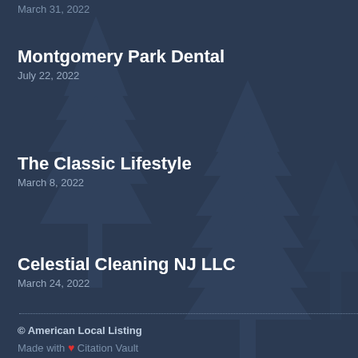Montgomery Park Dental
July 22, 2022
The Classic Lifestyle
March 8, 2022
Celestial Cleaning NJ LLC
March 24, 2022
© American Local Listing
Made with ❤ Citation Vault